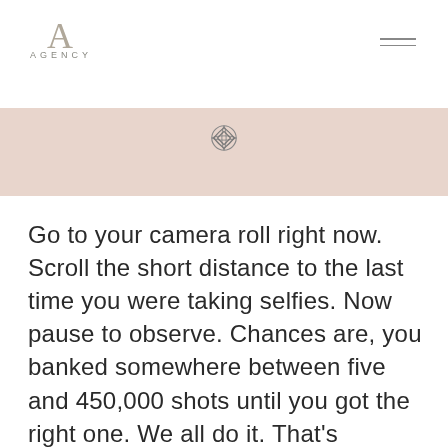AGENCY
[Figure (illustration): Decorative diamond/knot ornament icon centered in pink banner]
Go to your camera roll right now. Scroll the short distance to the last time you were taking selfies. Now pause to observe. Chances are, you banked somewhere between five and 450,000 shots until you got the right one. We all do it. That's because nailing the perfect selfie isn't easy—it's